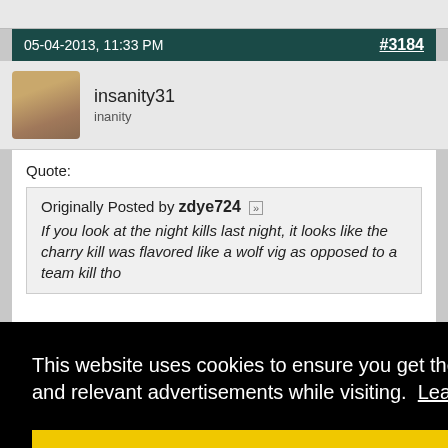05-04-2013, 11:33 PM   #3184
[Figure (photo): User avatar thumbnail showing a person, warm tones]
insanity31
inanity
Quote:
Originally Posted by zdye724
If you look at the night kills last night, it looks like the charry kill was flavored like a wolf vig as opposed to a team kill tho
This website uses cookies to ensure you get the best experience and relevant advertisements while visiting.  Learn more
Got it!
#3185
[Figure (photo): User avatar thumbnail, dark tones, person in suit]
Lack'n in some direction